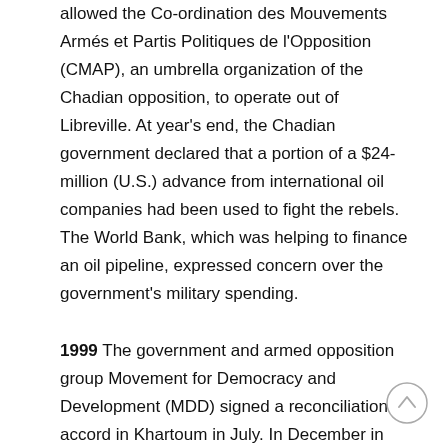allowed the Co-ordination des Mouvements Armés et Partis Politiques de l'Opposition (CMAP), an umbrella organization of the Chadian opposition, to operate out of Libreville. At year's end, the Chadian government declared that a portion of a $24-million (U.S.) advance from international oil companies had been used to fight the rebels. The World Bank, which was helping to finance an oil pipeline, expressed concern over the government's military spending.
1999 The government and armed opposition group Movement for Democracy and Development (MDD) signed a reconciliation accord in Khartoum in July. In December in